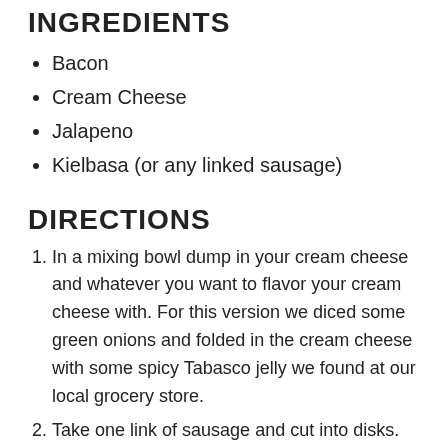INGREDIENTS
Bacon
Cream Cheese
Jalapeno
Kielbasa (or any linked sausage)
DIRECTIONS
In a mixing bowl dump in your cream cheese and whatever you want to flavor your cream cheese with. For this version we diced some green onions and folded in the cream cheese with some spicy Tabasco jelly we found at our local grocery store.
Take one link of sausage and cut into disks. Cut wide enough to enough for a toothpick to